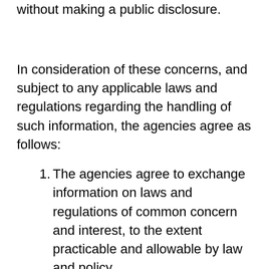without making a public disclosure.
In consideration of these concerns, and subject to any applicable laws and regulations regarding the handling of such information, the agencies agree as follows:
The agencies agree to exchange information on laws and regulations of common concern and interest, to the extent practicable and allowable by law and policy.
The parties will be available to discuss and provide information to one another on topics of mutual interest, overlapping jurisdiction, or certain areas of expertise, when able.
Exchange of information to one another